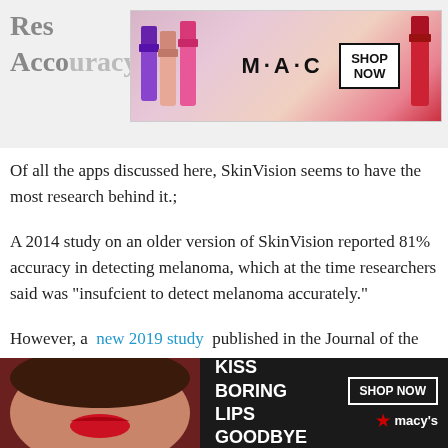Research... Recognition Rate Accuracy Isn't Quite There
[Figure (photo): MAC cosmetics advertisement banner with lipsticks and SHOP NOW button]
Of all the apps discussed here, SkinVision seems to have the most research behind it.;
A 2014 study on an older version of SkinVision reported 81% accuracy in detecting melanoma, which at the time researchers said was “insufcient to detect melanoma accurately.”
However, a new 2019 study published in the Journal of the European Academy of Dermatology and Venereology determined that SkinVision can detect 95% of skin cancer cases. It’s encouraging to see the company con... work on app... ...e numbe...
[Figure (photo): Macy’s advertisement banner at bottom: KISS BORING LIPS GOODBYE with SHOP NOW button]